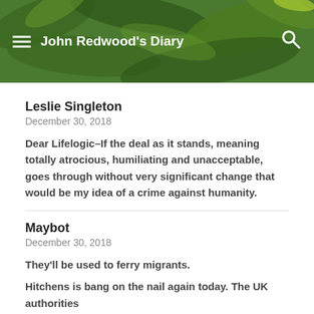John Redwood's Diary
Leslie Singleton
December 30, 2018
Dear Lifelogic–If the deal as it stands, meaning totally atrocious, humiliating and unacceptable, goes through without very significant change that would be my idea of a crime against humanity.
Maybot
December 30, 2018
They'll be used to ferry migrants.
Hitchens is bang on the nail again today. The UK authorities